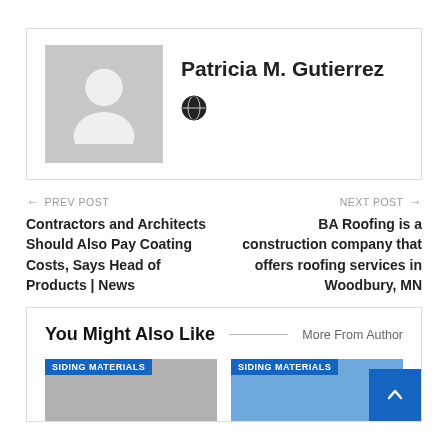[Figure (photo): Author profile card with avatar placeholder silhouette and globe icon]
Patricia M. Gutierrez
← PREV POST
Contractors and Architects Should Also Pay Coating Costs, Says Head of Products | News
NEXT POST →
BA Roofing is a construction company that offers roofing services in Woodbury, MN
You Might Also Like
More From Author
SIDING MATERIALS
SIDING MATERIALS